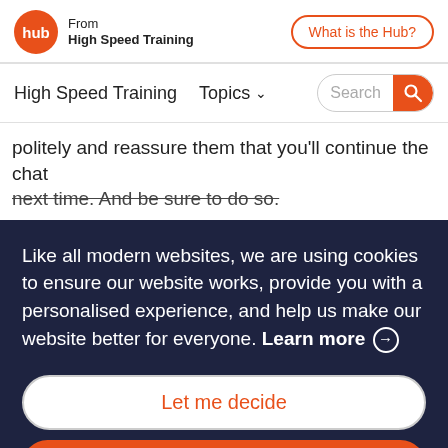From High Speed Training | What is the Hub?
High Speed Training  Topics  Search
politely and reassure them that you'll continue the chat next time. And be sure to do so.
Like all modern websites, we are using cookies to ensure our website works, provide you with a personalised experience, and help us make our website better for everyone. Learn more →
Let me decide
I'm okay with this